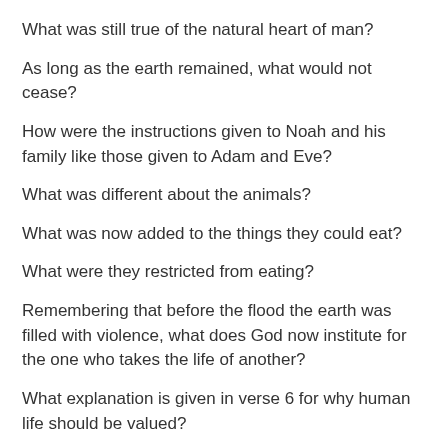What was still true of the natural heart of man?
As long as the earth remained, what would not cease?
How were the instructions given to Noah and his family like those given to Adam and Eve?
What was different about the animals?
What was now added to the things they could eat?
What were they restricted from eating?
Remembering that before the flood the earth was filled with violence, what does God now institute for the one who takes the life of another?
What explanation is given in verse 6 for why human life should be valued?